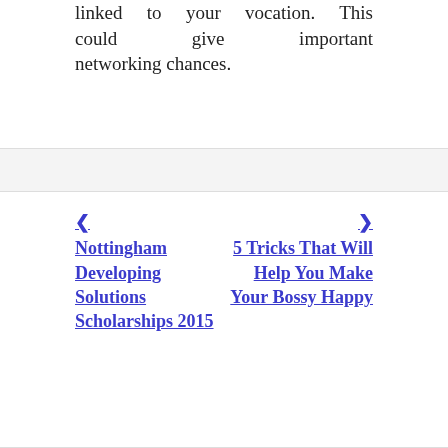linked to your vocation. This could give important networking chances.
◀ Nottingham Developing Solutions Scholarships 2015
5 Tricks That Will Help You Make Your Bossy Happy ▶